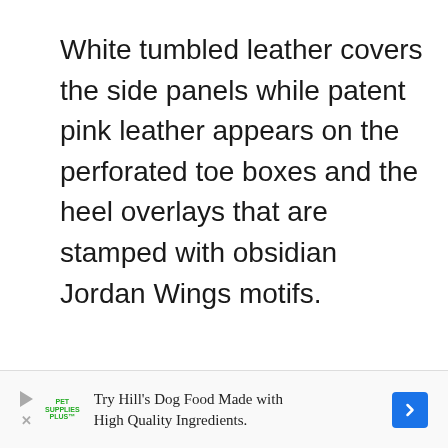White tumbled leather covers the side panels while patent pink leather appears on the perforated toe boxes and the heel overlays that are stamped with obsidian Jordan Wings motifs.
[Figure (other): Advertisement banner for Hill's Dog Food with Pet Supplies Plus logo, play and close icons, ad text 'Try Hill's Dog Food Made with High Quality Ingredients.' and a blue navigation arrow]